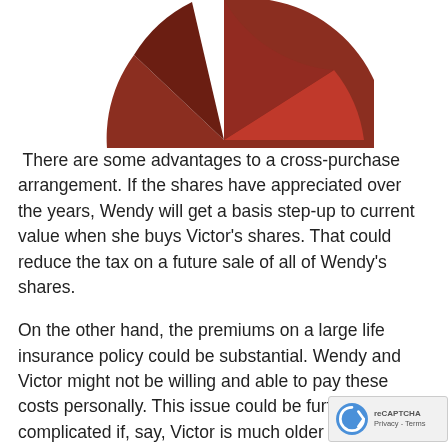[Figure (pie-chart): Partial top view of a pie chart with dark red/brown and bright red slices, cropped at bottom of visible area]
There are some advantages to a cross-purchase arrangement. If the shares have appreciated over the years, Wendy will get a basis step-up to current value when she buys Victor's shares. That could reduce the tax on a future sale of all of Wendy's shares.
On the other hand, the premiums on a large life insurance policy could be substantial. Wendy and Victor might not be willing and able to pay these costs personally. This issue could be further complicated if, say, Victor is much older than Wendy and in poor health. The premiums on a
policy insuring Victor could be much higher than premiums for a policy insuring Wendy; this disparity